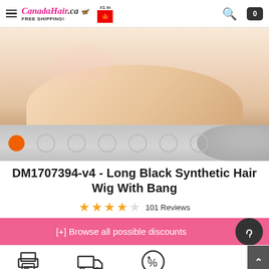CanadaHair.ca FREE SHIPPING! #1 in Canada
[Figure (photo): Partial view of a wig cap/base shown from underneath against a light background]
[Figure (other): Image carousel navigation dots, first dot active (orange), remaining 6 dots empty]
DM1707394-v4 - Long Black Synthetic Hair Wig With Bang
★★★★☆ 101 Reviews
[+] Browse all possible discounts
[Figure (other): Bottom icons: printer, delivery truck, discount tag; scroll-up button]